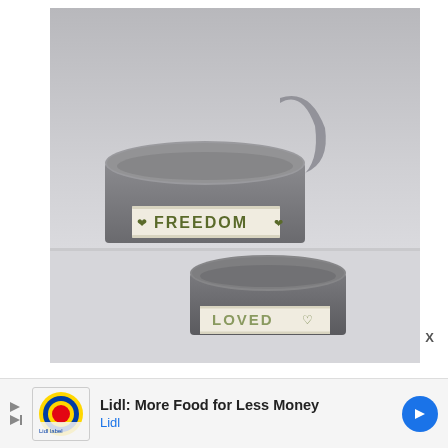[Figure (photo): Two grey felt cuffs/bracelets on a light surface. The larger one in the back has a cream ribbon label reading 'FREEDOM' with small green heart/leaf motifs. The smaller one in front has a cream ribbon label reading 'LOVED' with a small heart outline.]
X
Lidl: More Food for Less Money
Lidl